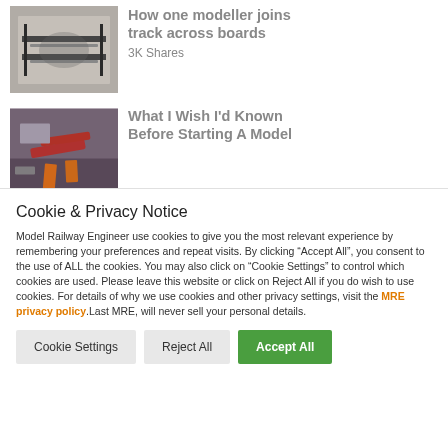[Figure (photo): Photo of model railway track joining across boards, close-up view of rails and ballast]
How one modeller joins track across boards
3K Shares
[Figure (photo): Photo of model railway tools and red/orange components on a purple/dark surface]
What I Wish I'd Known Before Starting A Model
Cookie & Privacy Notice
Model Railway Engineer use cookies to give you the most relevant experience by remembering your preferences and repeat visits. By clicking “Accept All”, you consent to the use of ALL the cookies. You may also click on "Cookie Settings" to control which cookies are used. Please leave this website or click on Reject All if you do wish to use cookies. For details of why we use cookies and other privacy settings, visit the MRE privacy policy.Last MRE, will never sell your personal details.
Cookie Settings | Reject All | Accept All